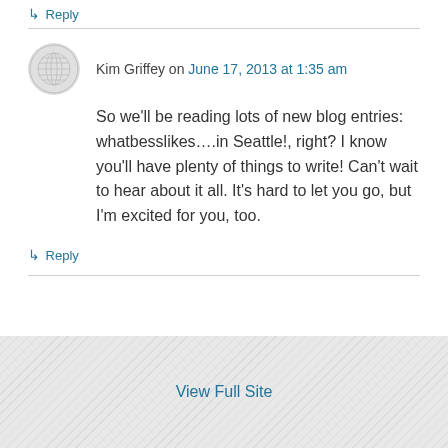↳ Reply
Kim Griffey on June 17, 2013 at 1:35 am
So we'll be reading lots of new blog entries: whatbesslikes….in Seattle!, right? I know you'll have plenty of things to write! Can't wait to hear about it all. It's hard to let you go, but I'm excited for you, too.
↳ Reply
View Full Site